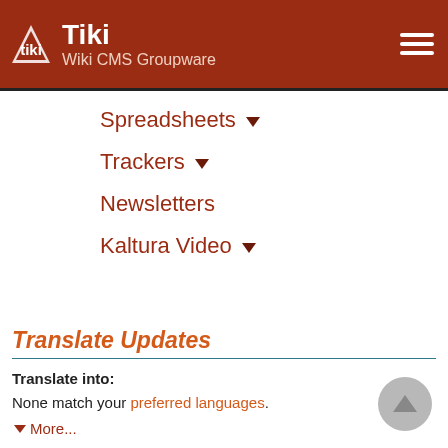Tiki Wiki CMS Groupware
Spreadsheets ▾
Trackers ▾
Newsletters
Kaltura Video ▾
Translate Updates
Translate into:
None match your preferred languages.
✓More...